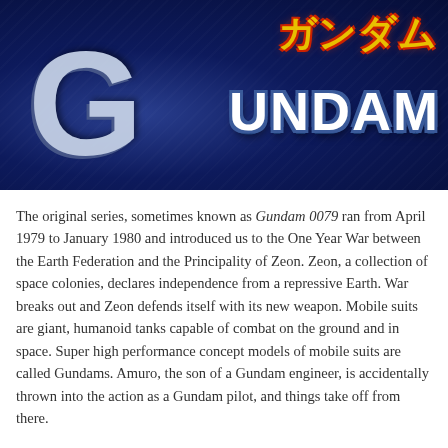[Figure (photo): Photo of the Gundam logo/title card showing the stylized large letter G in light blue-grey, with Japanese katakana text in yellow-red at top right, and 'GUNDAM' in white block letters below it, all on a dark navy blue background.]
The original series, sometimes known as Gundam 0079 ran from April 1979 to January 1980 and introduced us to the One Year War between the Earth Federation and the Principality of Zeon. Zeon, a collection of space colonies, declares independence from a repressive Earth. War breaks out and Zeon defends itself with its new weapon. Mobile suits are giant, humanoid tanks capable of combat on the ground and in space. Super high performance concept models of mobile suits are called Gundams. Amuro, the son of a Gundam engineer, is accidentally thrown into the action as a Gundam pilot, and things take off from there.